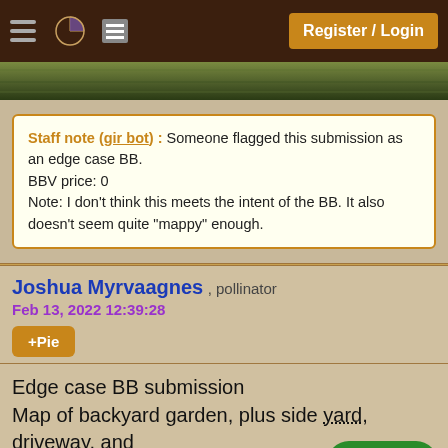Register / Login
[Figure (photo): Partial view of a green garden/yard photo strip at the top of the page]
Staff note (gir bot) :  Someone flagged this submission as an edge case BB.
BBV price: 0
Note: I don't think this meets the intent of the BB. It also doesn't seem quite "mappy" enough.
Joshua Myrvaagnes , pollinator
Feb 13, 2022 12:39:28
+Pie
Edge case BB submission
Map of backyard garden, plus side yard, driveway, and front yard points of interest.
This is going to be used for handing to future tenants of